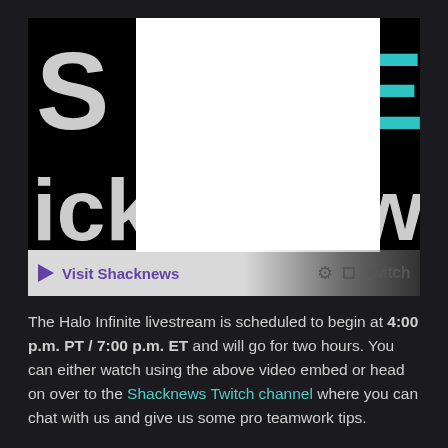[Figure (screenshot): Twitch embedded video player showing partial Shacknews logo letters on a black background with a white overlay in the center, and a control bar at the bottom showing a purple play button, 'Visit Shacknews' text, settings gear icon, fullscreen icon, and the Twitch logo.]
The Halo Infinite livestream is scheduled to begin at 4:00 p.m. PT / 7:00 p.m. ET and will go for two hours. You can either watch using the above video embed or head on over to the Shacknews Twitch channel where you can chat with us and give us some pro teamwork tips.